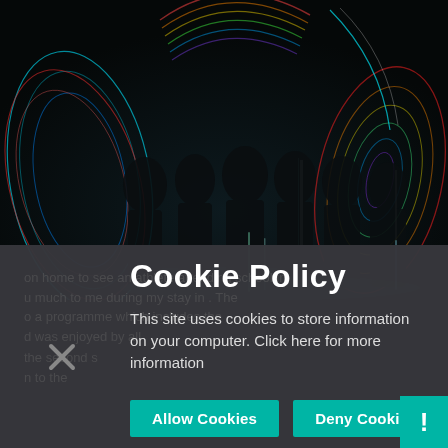[Figure (photo): Dark photograph of silhouetted people standing in a room with colorful light painting trails (cyan, green, red, rainbow arcs and spirals) swirling around them in a long-exposure effect.]
Cookie Policy
This site uses cookies to store information on your computer. Click here for more information
Allow Cookies
Deny Cookies